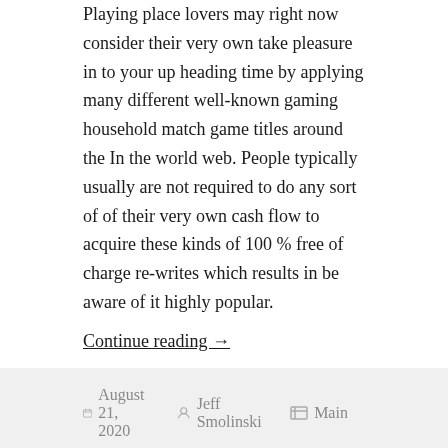Playing place lovers may right now consider their very own take pleasure in to your up heading time by applying many different well-known gaming household match game titles around the In the world web. People typically usually are not required to do any sort of of their very own cash flow to acquire these kinds of 100 % free of charge re-writes which results in be aware of it highly popular.
Continue reading →
August 21, 2020   Jeff Smolinski   Main
Diving DIVERS Corresponding Articles
Betting home admirers may at present transport